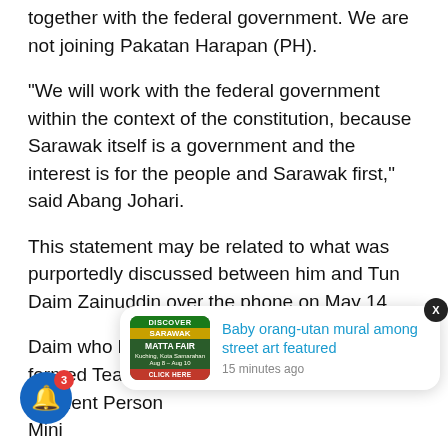together with the federal government. We are not joining Pakatan Harapan (PH).
“We will work with the federal government within the context of the constitution, because Sarawak itself is a government and the interest is for the people and Sarawak first,” said Abang Johari.
This statement may be related to what was purportedly discussed between him and Tun Daim Zainuddin over the phone on May 14.
Daim who heads the PH government’s newly formed Team of Eminent Persons, told Chief Minister Abang Johari, spoke to m... the state. In Parliament, you want to support, support, don’t
[Figure (screenshot): Push notification popup showing a news article thumbnail (Discover Sarawak MATTA Fair ad) and headline 'Baby orang-utan mural among street art featured' with timestamp '15 minutes ago'. A close X button appears top-right. A blue bell notification icon with red badge showing '3' appears bottom-left.]